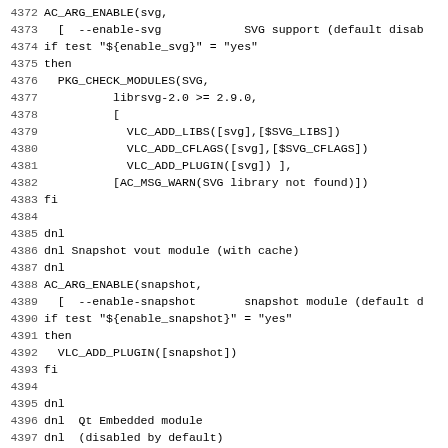Code listing lines 4372-4403: autoconf/m4 script for AC_ARG_ENABLE svg, snapshot, and qte modules